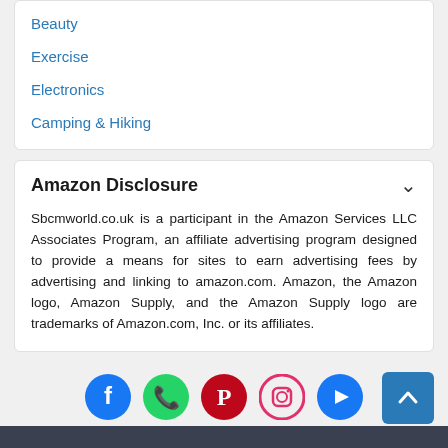Beauty
Exercise
Electronics
Camping & Hiking
Amazon Disclosure
Sbcmworld.co.uk is a participant in the Amazon Services LLC Associates Program, an affiliate advertising program designed to provide a means for sites to earn advertising fees by advertising and linking to amazon.com. Amazon, the Amazon logo, Amazon Supply, and the Amazon Supply logo are trademarks of Amazon.com, Inc. or its affiliates.
[Figure (other): Social media icons row: Facebook (blue circle), WhatsApp (green circle), Pinterest (red circle), Instagram (orange circle outline), YouTube (blue circle), and a blue scroll-to-top button with upward chevron]